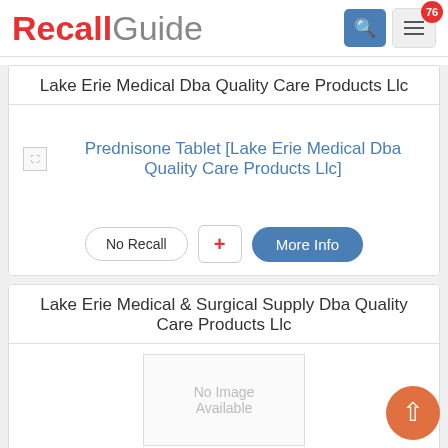[Figure (logo): RecallGuide logo with search and menu icons, notification badge 76]
Lake Erie Medical Dba Quality Care Products Llc
[Figure (illustration): Broken image placeholder next to product link: Prednisone Tablet [Lake Erie Medical Dba Quality Care Products Llc]]
No Recall
+
More Info
Lake Erie Medical & Surgical Supply Dba Quality Care Products Llc
[Figure (illustration): No Image Available placeholder box]